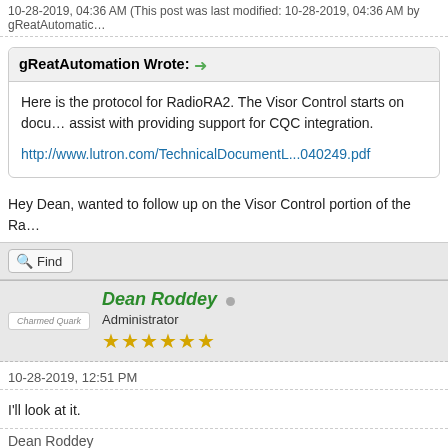10-28-2019, 04:36 AM (This post was last modified: 10-28-2019, 04:36 AM by gReatAutomatic…
gReatAutomation Wrote: →
Here is the protocol for RadioRA2. The Visor Control starts on docu… assist with providing support for CQC integration.
http://www.lutron.com/TechnicalDocumentL...040249.pdf
Hey Dean, wanted to follow up on the Visor Control portion of the Ra…
Find
Dean Roddey
Administrator
★★★★★★
10-28-2019, 12:51 PM
I'll look at it.
Dean Roddey